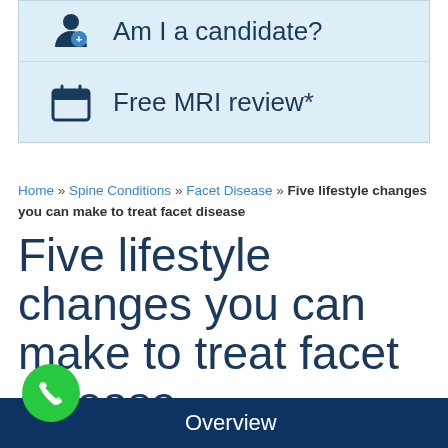[Figure (screenshot): Blue banner row with person/doctor icon and text 'Am I a candidate?']
[Figure (screenshot): Blue banner row with calendar icon and text 'Free MRI review*']
Home » Spine Conditions » Facet Disease » Five lifestyle changes you can make to treat facet disease
Five lifestyle changes you can make to treat facet disease
Overview